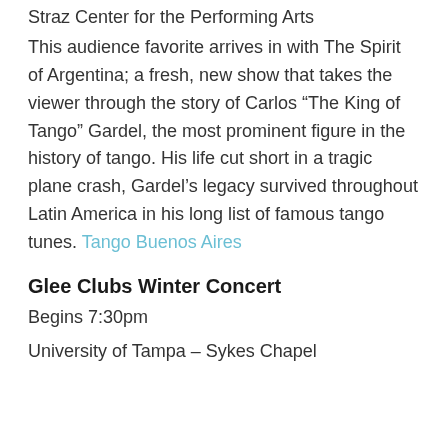Straz Center for the Performing Arts
This audience favorite arrives in with The Spirit of Argentina; a fresh, new show that takes the viewer through the story of Carlos “The King of Tango” Gardel, the most prominent figure in the history of tango. His life cut short in a tragic plane crash, Gardel’s legacy survived throughout Latin America in his long list of famous tango tunes. Tango Buenos Aires
Glee Clubs Winter Concert
Begins 7:30pm
University of Tampa – Sykes Chapel